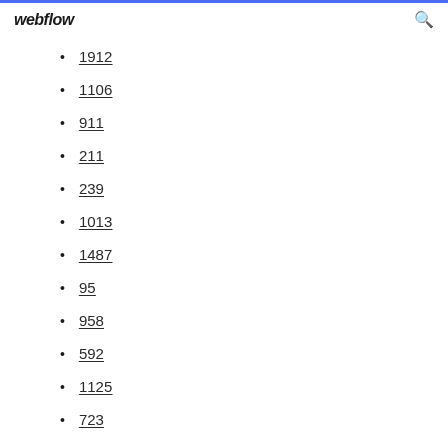webflow
1912
1106
911
211
239
1013
1487
95
958
592
1125
723